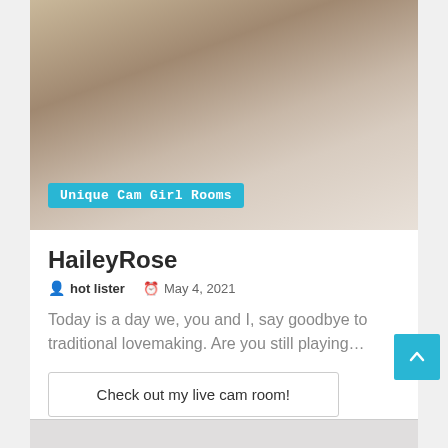[Figure (photo): Woman with long curly blonde/brown hair posing on white bedding, wearing a red and black striped top with white shorts. Blue badge overlay reads 'Unique Cam Girl Rooms'.]
HaileyRose
hot lister   May 4, 2021
Today is a day we, you and I, say goodbye to traditional lovemaking. Are you still playing…
Check out my live cam room!